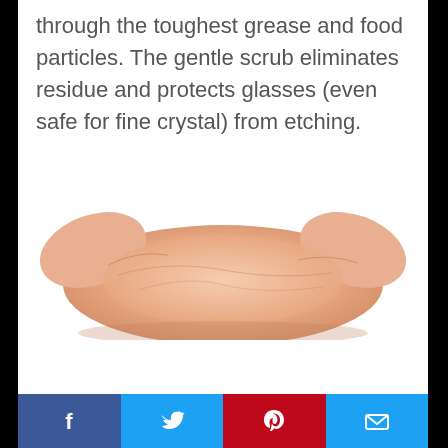through the toughest grease and food particles. The gentle scrub eliminates residue and protects glasses (even safe for fine crystal) from etching.
2. dropps Dropps scent booster & fabric softener he natural laundry pods, lavender eucalyptus, 120 count
[Figure (photo): Product image of dropps laundry pods packaging, peach/salmon colored pouch visible at bottom of page]
Facebook | Twitter | Pinterest | Email share buttons